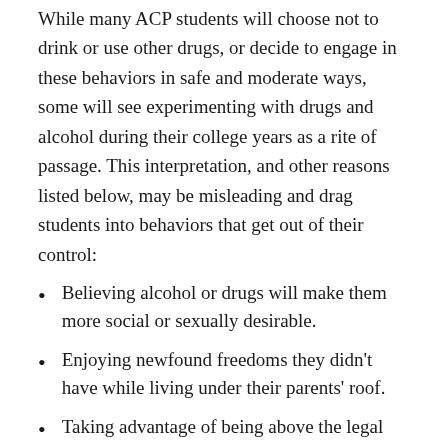While many ACP students will choose not to drink or use other drugs, or decide to engage in these behaviors in safe and moderate ways, some will see experimenting with drugs and alcohol during their college years as a rite of passage. This interpretation, and other reasons listed below, may be misleading and drag students into behaviors that get out of their control:
Believing alcohol or drugs will make them more social or sexually desirable.
Enjoying newfound freedoms they didn't have while living under their parents' roof.
Taking advantage of being above the legal drinking age in France.
Using it as a strategy to cope with stress, anxiety or